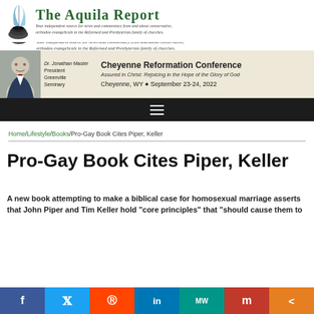[Figure (logo): The Aquila Report logo with quill pen and inkwell icon, green serif title text, italic subtitle]
[Figure (infographic): Cheyenne Reformation Conference banner with photo of Dr. Jonathan Master, President Greenville Seminary. Conference title, subtitle 'Assured in Christ: Rejoicing in the Hope of the Glory of God', location Cheyenne WY, September 23-24, 2022]
Home/Lifestyle/Books/Pro-Gay Book Cites Piper, Keller
Pro-Gay Book Cites Piper, Keller
A new book attempting to make a biblical case for homosexual marriage asserts that John Piper and Tim Keller hold "core principles" that "should cause them to
[Figure (infographic): Social media sharing bar with Facebook, Twitter, Reddit, LinkedIn, MeWe, Mix, and share buttons]